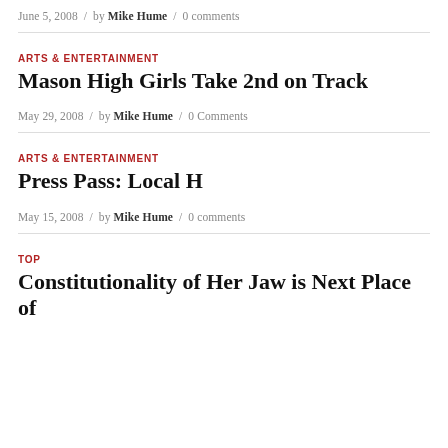June 5, 2008 / by Mike Hume / 0 comments
ARTS & ENTERTAINMENT
Mason High Girls Take 2nd on Track
May 29, 2008 / by Mike Hume / 0 Comments
ARTS & ENTERTAINMENT
Press Pass: Local H
May 15, 2008 / by Mike Hume / 0 comments
TOP
Constitutionality of Her Jaw is Next Place of…